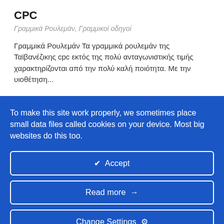CPC
Γραμμικά Ρουλεμάν, Γραμμικοί οδηγοί
Γραμμικά Ρουλεμάν Τα γραμμικά ρουλεμάν της Ταϊβανέζικης cpc εκτός της πολύ ανταγωνιστικής τιμής χαρακτηρίζονται από την πολύ καλή ποιότητα. Με την υιοθέτηση...
To make this site work properly, we sometimes place small data files called cookies on your device. Most big websites do this too.
✔  Accept
Read more →
Change Settings ⚙